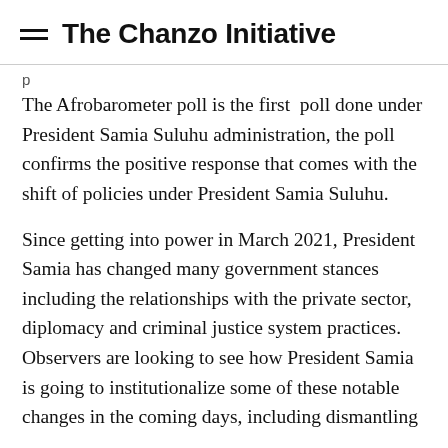The Chanzo Initiative
The Afrobarometer poll is the first poll done under President Samia Suluhu administration, the poll confirms the positive response that comes with the shift of policies under President Samia Suluhu.
Since getting into power in March 2021, President Samia has changed many government stances including the relationships with the private sector, diplomacy and criminal justice system practices. Observers are looking to see how President Samia is going to institutionalize some of these notable changes in the coming days, including dismantling